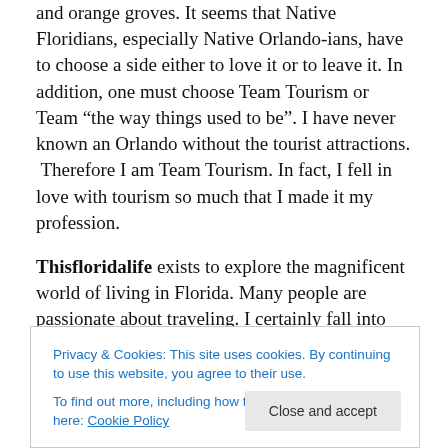and orange groves. It seems that Native Floridians, especially Native Orlando-ians, have to choose a side either to love it or to leave it.  In addition, one must choose Team Tourism or Team “the way things used to be”.  I have never known an Orlando without the tourist attractions.  Therefore I am Team Tourism.  In fact, I fell in love with tourism so much that I made it my profession.
Thisfloridalife exists to explore the magnificent world of living in Florida.  Many people are passionate about traveling.  I certainly fall into that category.  However, I recently decided that rather than making it my mission to
Privacy & Cookies: This site uses cookies. By continuing to use this website, you agree to their use.
To find out more, including how to control cookies, see here: Cookie Policy
explore Florida, either as a visitor, a resident, or a